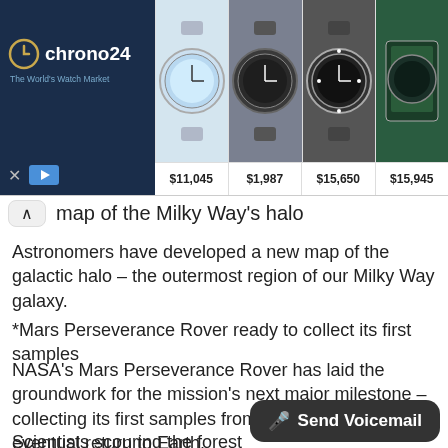[Figure (screenshot): Chrono24 advertisement banner with watch marketplace logo on dark navy background and four watch product images with prices: $11,045, $1,987, $15,650, $15,945]
map of the Milky Way's halo
Astronomers have developed a new map of the galactic halo – the outermost region of our Milky Way galaxy.
*Mars Perseverance Rover ready to collect its first samples
NASA's Mars Perseverance Rover has laid the groundwork for the mission's next major milestone – collecting its first samples from the red planet for eventual return to Earth.
*Norway treated to a spectacular meteor light show
Scientists scouring the forest the Norwegian capital of Oslo looking for the
[Figure (other): Send Voicemail button overlay in dark rounded rectangle with microphone icon]